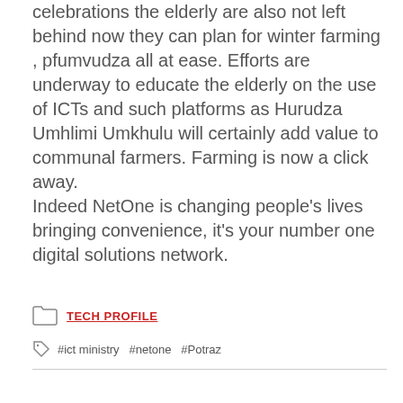celebrations the elderly are also not left behind now they can plan for winter farming , pfumvudza all at ease. Efforts are underway to educate the elderly on the use of ICTs and such platforms as Hurudza Umhlimi Umkhulu will certainly add value to communal farmers. Farming is now a click away.
Indeed NetOne is changing people’s lives bringing convenience, it’s your number one digital solutions network.
TECH PROFILE
#ict ministry  #netone  #Potraz
[Figure (other): Social share buttons: Facebook (blue), Twitter (light blue), Google+ (orange-red), Pinterest (red). Comment button (red) showing 0 comments.]
[Figure (other): Author avatar placeholder (grey silhouette icon) above a light grey profile card area.]